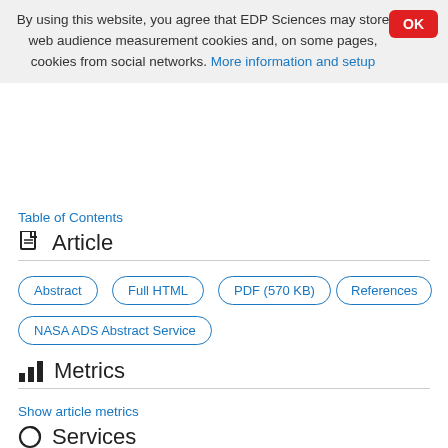By using this website, you agree that EDP Sciences may store web audience measurement cookies and, on some pages, cookies from social networks. More information and setup
OK
Table of Contents
Article
Abstract
Full HTML
PDF (570 KB)
References
NASA ADS Abstract Service
Metrics
Show article metrics
Services
Articles citing this article